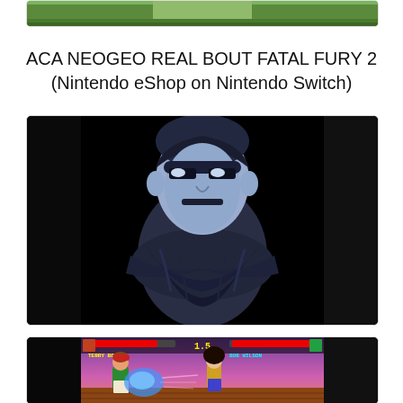[Figure (screenshot): Partial green/nature screenshot clipped at top of page]
ACA NEOGEO REAL BOUT FATAL FURY 2
(Nintendo eShop on Nintendo Switch)
[Figure (screenshot): Black and white villain character with arms crossed on black background - Real Bout Fatal Fury 2 intro/character screen]
[Figure (screenshot): Fighting game gameplay screenshot: Terry Bogard vs Bob Wilson on purple sunset stage with blue energy effects]